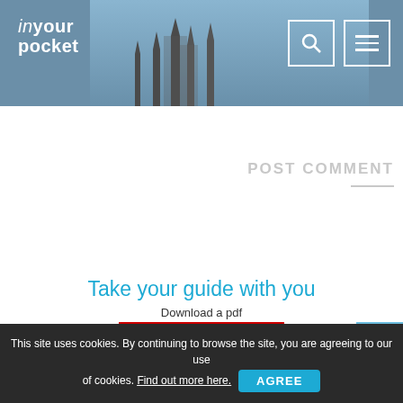[Figure (screenshot): In Your Pocket website header with logo, cathedral spire photo background, search icon button and hamburger menu button]
POST COMMENT
Take your guide with you
Download a pdf
[Figure (photo): Kyiv In Your Pocket city guide PDF cover showing red and blue design with 'Kyiv' title and navigation bar with Maps, Events, Restaurants, Cafes, Nightlife, Sightseeing, Shopping, Hotels]
This site uses cookies. By continuing to browse the site, you are agreeing to our use of cookies. Find out more here.
AGREE